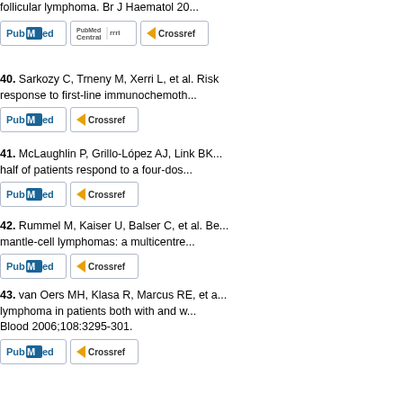follicular lymphoma. Br J Haematol 2...
40. Sarkozy C, Trneny M, Xerri L, et al. Risk... response to first-line immunochemoth...
41. McLaughlin P, Grillo-López AJ, Link BK... half of patients respond to a four-dos...
42. Rummel M, Kaiser U, Balser C, et al. Be... mantle-cell lymphomas: a multicentre...
43. van Oers MH, Klasa R, Marcus RE, et a... lymphoma in patients both with and w... Blood 2006;108:3295-301.
44. Sehn LH, Chua N, Mayer J, et al. Obinu... refractory indolent non-Hodgkin lymp... 2016;17:1081-93.
45. Cheson BD, Chua N, Mayer J, et al. Ov... received obinutuzumab plus bendam...